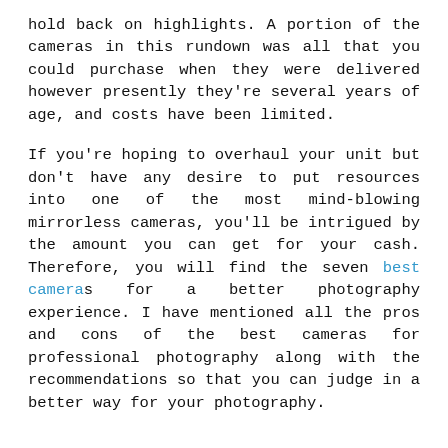hold back on highlights. A portion of the cameras in this rundown was all that you could purchase when they were delivered however presently they're several years of age, and costs have been limited.
If you're hoping to overhaul your unit but don't have any desire to put resources into one of the most mind-blowing mirrorless cameras, you'll be intrigued by the amount you can get for your cash. Therefore, you will find the seven best cameras for a better photography experience. I have mentioned all the pros and cons of the best cameras for professional photography along with the recommendations so that you can judge in a better way for your photography.